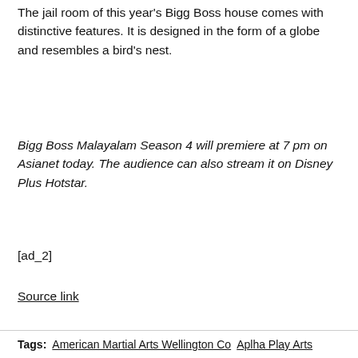The jail room of this year's Bigg Boss house comes with distinctive features. It is designed in the form of a globe and resembles a bird's nest.
Bigg Boss Malayalam Season 4 will premiere at 7 pm on Asianet today. The audience can also stream it on Disney Plus Hotstar.
[ad_2]
Source link
Tags:  American Martial Arts Wellington Co  Aplha Play Arts Arts And Craft Store 125  Arts And Crafts Withhemp Line Arts And Visual Technologies  Arts Bridge Incubator Arts District Medellin  Arts Events Usa  Arts Nad Sceince Wyoming Arts Of Animation Florida  Arts Partners Collin Allen Arts University Bournemouth Costume  Bit O'Whimsy Arts Borough Arts Director  Capital Arts Merchandise Chi Arts Student Overview  Decatur School Of The Arts Eastover Central School Of Arts  English Language Arts Christmas Etiquette Of Judo Martial Arts  Evening For The Arts 17 Kintera Org